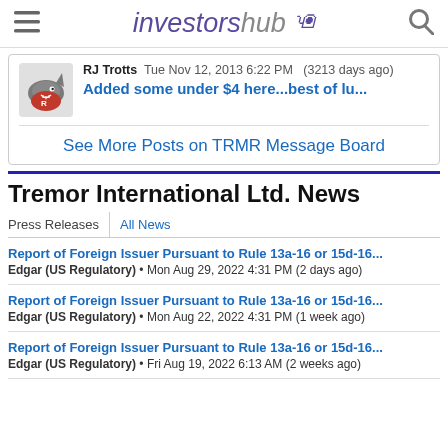investorshub
RJ Trotts  Tue Nov 12, 2013 6:22 PM  (3213 days ago)
Added some under $4 here...best of lu...
See More Posts on TRMR Message Board
Tremor International Ltd. News
Press Releases  |  All News
Report of Foreign Issuer Pursuant to Rule 13a-16 or 15d-16...
Edgar (US Regulatory) • Mon Aug 29, 2022 4:31 PM (2 days ago)
Report of Foreign Issuer Pursuant to Rule 13a-16 or 15d-16...
Edgar (US Regulatory) • Mon Aug 22, 2022 4:31 PM (1 week ago)
Report of Foreign Issuer Pursuant to Rule 13a-16 or 15d-16...
Edgar (US Regulatory) • Fri Aug 19, 2022 6:13 AM (2 weeks ago)